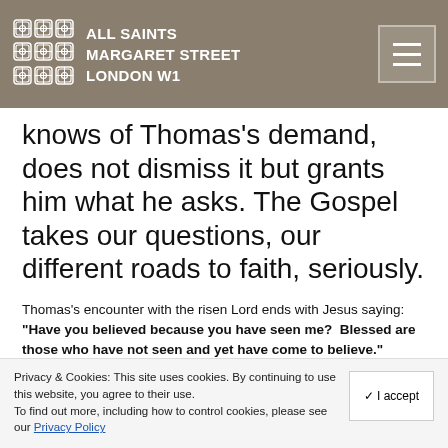ALL SAINTS MARGARET STREET LONDON W1
knows of Thomas's demand, does not dismiss it but grants him what he asks. The Gospel takes our questions, our different roads to faith, seriously.
Thomas's encounter with the risen Lord ends with Jesus saying: "Have you believed because you have seen me? Blessed are those who have not seen and yet have come to believe."
John might have concluded his Gospel with the risen Christ breathing his Spirit on the disciples for their role in his continuing
Privacy & Cookies: This site uses cookies. By continuing to use this website, you agree to their use. To find out more, including how to control cookies, please see our Privacy Policy